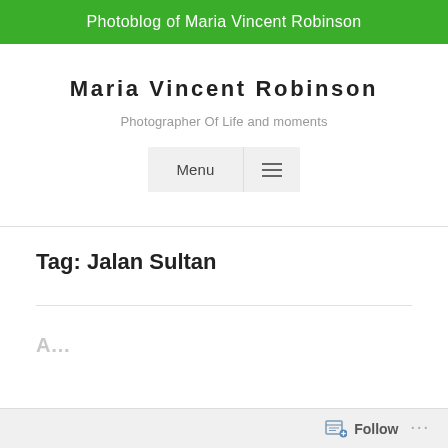Photoblog of Maria Vincent Robinson
Maria Vincent Robinson
Photographer Of Life and moments
[Figure (screenshot): Navigation menu bar with 'Menu' text and hamburger icon on grey background]
Tag: Jalan Sultan
A... (partial article title, faded)
Follow